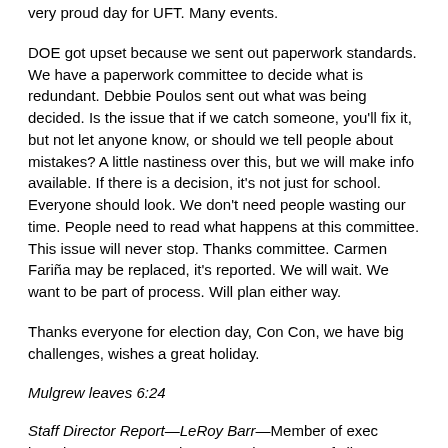very proud day for UFT. Many events.
DOE got upset because we sent out paperwork standards. We have a paperwork committee to decide what is redundant. Debbie Poulos sent out what was being decided. Is the issue that if we catch someone, you'll fix it, but not let anyone know, or should we tell people about mistakes? A little nastiness over this, but we will make info available. If there is a decision, it's not just for school. Everyone should look. We don't need people wasting our time. People need to read what happens at this committee. This issue will never stop. Thanks committee. Carmen Fariña may be replaced, it's reported. We will wait. We want to be part of process. Will plan either way.
Thanks everyone for election day, Con Con, we have big challenges, wishes a great holiday.
Mulgrew leaves 6:24
Staff Director Report—LeRoy Barr—Member of exec board, Jay Futterman, has passed. Moment of silence.